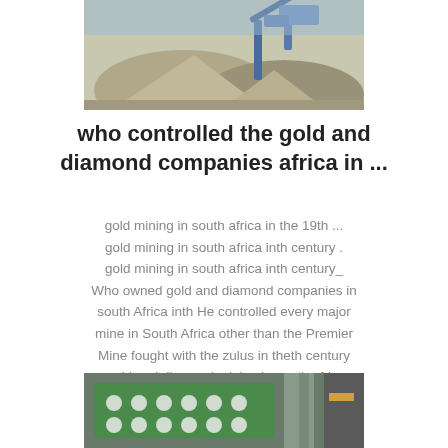[Figure (photo): Mining equipment and gravel piles at a mining site]
who controlled the gold and diamond companies africa in ...
gold mining in south africa in the 19th ... gold mining in south africa inth century . gold mining in south africa inth century_ Who owned gold and diamond companies in south Africa inth He controlled every major mine in South Africa other than the Premier Mine fought with the zulus in theth century ...gold and diamond mining in south africa..
inquiry@shanghaimeilan
[Figure (photo): Industrial conveyor belt or mechanical equipment close-up with green elements]